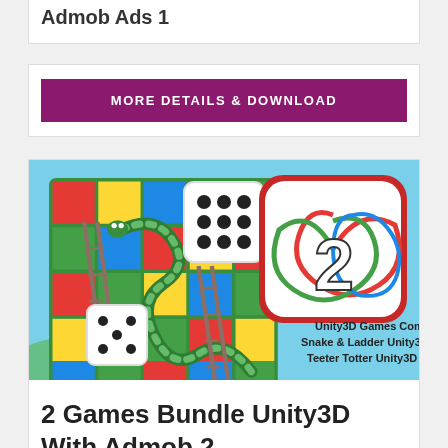Admob Ads 1
MORE DETAILS & DOWNLOAD
[Figure (illustration): Unity3D Games Combo pack - Snake & Ladder Unity3D Source Code and Teeter Totter Unity3D Source Code game banner image showing a snakes and ladders board game with dice and a swirling spinner graphic]
2 Games Bundle Unity3D With Admob 2